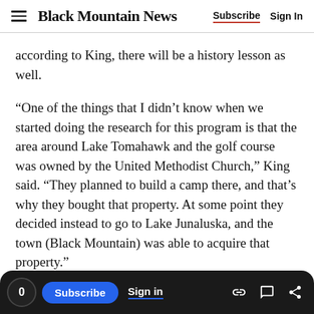Black Mountain News  Subscribe  Sign In
according to King, there will be a history lesson as well.
“One of the things that I didn’t know when we started doing the research for this program is that the area around Lake Tomahawk and the golf course was owned by the United Methodist Church,” King said. “They planned to build a camp there, and that’s why they bought that property. At some point they decided instead to go to Lake Junaluska, and the town (Black Mountain) was able to acquire that property.”
0  Subscribe  Sign in  [link icon] [comment icon] [share icon]